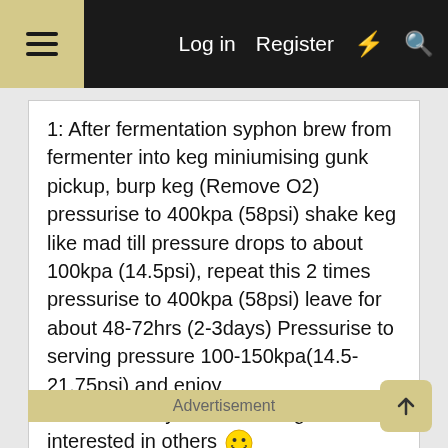Log in  Register
1: After fermentation syphon brew from fermenter into keg miniumising gunk pickup, burp keg (Remove O2) pressurise to 400kpa (58psi) shake keg like mad till pressure drops to about 100kpa (14.5psi), repeat this 2 times pressurise to 400kpa (58psi) leave for about 48-72hrs (2-3days) Pressurise to serving pressure 100-150kpa(14.5-21.75psi) and enjoy
That's the way i've been tought and am interested in others 😀
Reply
Advertisement